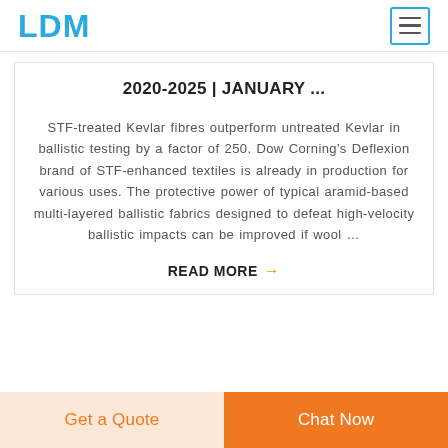LDM
2020-2025 | JANUARY ...
STF-treated Kevlar fibres outperform untreated Kevlar in ballistic testing by a factor of 250. Dow Corning's Deflexion brand of STF-enhanced textiles is already in production for various uses. The protective power of typical aramid-based multi-layered ballistic fabrics designed to defeat high-velocity ballistic impacts can be improved if wool …
READ MORE →